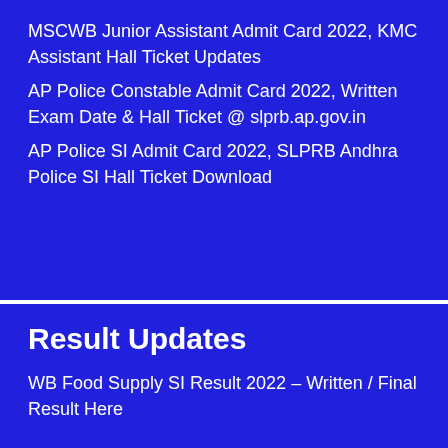MSCWB Junior Assistant Admit Card 2022, KMC Assistant Hall Ticket Updates
AP Police Constable Admit Card 2022, Written Exam Date & Hall Ticket @ slprb.ap.gov.in
AP Police SI Admit Card 2022, SLPRB Andhra Police SI Hall Ticket Download
Result Updates
WB Food Supply SI Result 2022 – Written / Final Result Here